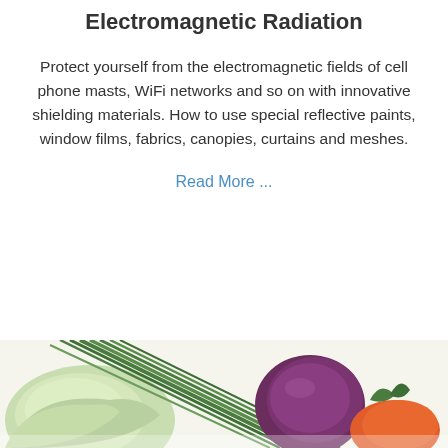Electromagnetic Radiation
Protect yourself from the electromagnetic fields of cell phone masts, WiFi networks and so on with innovative shielding materials. How to use special reflective paints, window films, fabrics, canopies, curtains and meshes.
Read More ...
[Figure (photo): Close-up photo of fresh vegetables including cabbage, green onions/chives, red onion or beet, and what appears to be carrots or tomatoes, on a white background.]